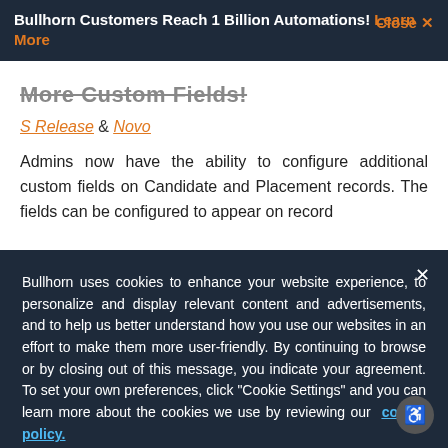Bullhorn Customers Reach 1 Billion Automations! Learn More   Close ×
More Custom Fields!
S Release & Novo
Admins now have the ability to configure additional custom fields on Candidate and Placement records. The fields can be configured to appear on record
Bullhorn uses cookies to enhance your website experience, to personalize and display relevant content and advertisements, and to help us better understand how you use our websites in an effort to make them more user-friendly. By continuing to browse or by closing out of this message, you indicate your agreement. To set your own preferences, click "Cookie Settings" and you can learn more about the cookies we use by reviewing our cookie policy.
Cookies Settings